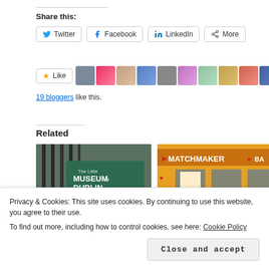Share this:
Twitter
Facebook
LinkedIn
More
[Figure (other): Like button with star icon and row of 10 blogger avatar thumbnails]
19 bloggers like this.
Related
[Figure (photo): Photo of The Little Museum of Dublin sign on iron gate]
[Figure (photo): Photo of Matchmaker Bar storefront with hearts decoration]
Privacy & Cookies: This site uses cookies. By continuing to use this website, you agree to their use.
To find out more, including how to control cookies, see here: Cookie Policy
Close and accept